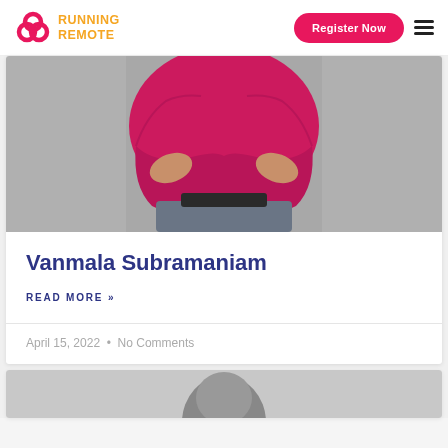Running Remote — Register Now
[Figure (photo): Person wearing pink/magenta long-sleeve top with arms crossed, gray skirt, against gray background]
Vanmala Subramaniam
READ MORE »
April 15, 2022 • No Comments
[Figure (photo): Partial view of a second person, black and white or grayscale photo, head partially visible at bottom of page]